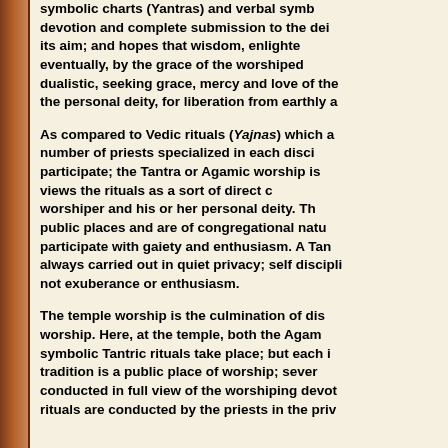symbolic charts (Yantras) and verbal symbols; devotion and complete submission to the deity as its aim; and hopes that wisdom, enlightenment eventually, by the grace of the worshiped deity; dualistic, seeking grace, mercy and love of the personal deity, for liberation from earthly attachments.
As compared to Vedic rituals (Yajnas) which a large number of priests specialized in each discipline participate; the Tantra or Agamic worship is personal; views the rituals as a sort of direct communion, worshiper and his or her personal deity. The rituals in public places and are of congregational nature, where all participate with gaiety and enthusiasm. A Tantric worship is always carried out in quiet privacy; self discipline is its key, not exuberance or enthusiasm.
The temple worship is the culmination of disciplined worship. Here, at the temple, both the Agamic and symbolic Tantric rituals take place; but each in tradition is a public place of worship; several rituals are conducted in full view of the worshiping devotees, while some rituals are conducted by the priests in the privacy...